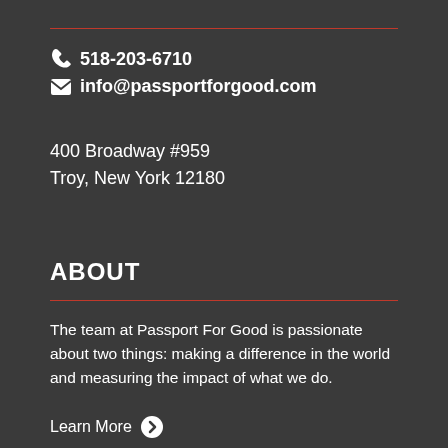518-203-6710
info@passportforgood.com
400 Broadway #959
Troy, New York 12180
ABOUT
The team at Passport For Good is passionate about two things: making a difference in the world and measuring the impact of what we do.
Learn More